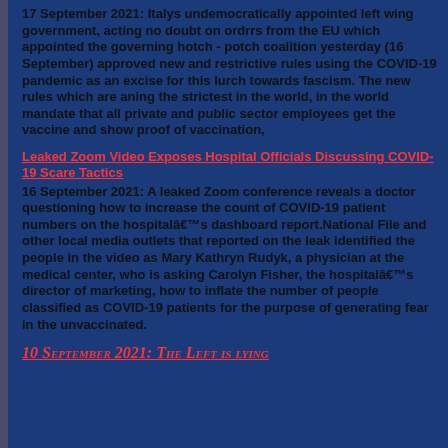17 September 2021: Italys undemocratically appointed left wing government, acting no doubt on ordrrs from the EU which appointed the governing hotch - potch coalition yesterday (16 September) approved new and restrictive rules using the COVID-19 pandemic as an excise for this lurch towards fascism. The new rules which are aning the strictest in the world, in the world mandate that all private and public sector employees get the vaccine and show proof of vaccination,
Leaked Zoom Video Exposes Hospital Officials Discussing COVID-19 Scare Tactics
16 September 2021: A leaked Zoom conference reveals a doctor questioning how to increase the count of COVID-19 patient numbers on the hospitalâ€™s dashboard report.National File and other local media outlets that reported on the leak identified the people in the video as Mary Kathryn Rudyk, a physician at the medical center, who is asking Carolyn Fisher, the hospitalâ€™s director of marketing, how to inflate the number of people classified as COVID-19 patients for the purpose of generating fear in the unvaccinated.
10 September 2021: The Left is lying